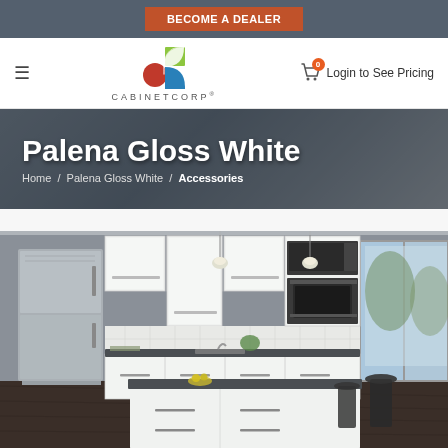BECOME A DEALER
[Figure (logo): CabinetCorp logo with colorful swirl icon and CABINETCORP wordmark]
Login to See Pricing
Palena Gloss White
Home / Palena Gloss White / Accessories
[Figure (photo): Modern kitchen with Palena Gloss White cabinets, dark countertops, stainless steel appliances, pendant lights, and a kitchen island]